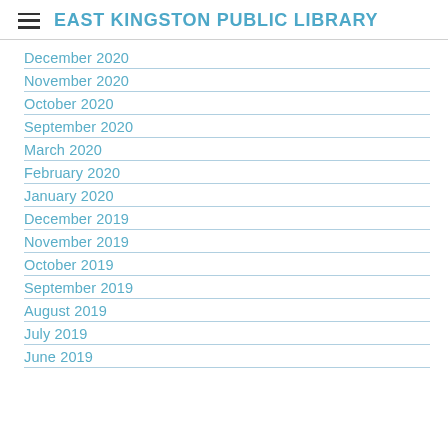EAST KINGSTON PUBLIC LIBRARY
December 2020
November 2020
October 2020
September 2020
March 2020
February 2020
January 2020
December 2019
November 2019
October 2019
September 2019
August 2019
July 2019
June 2019